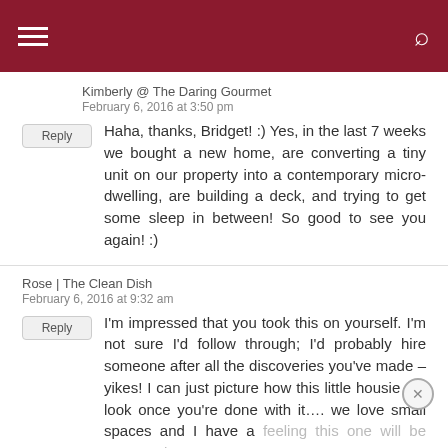Navigation header bar with hamburger menu and search icon
Kimberly @ The Daring Gourmet
February 6, 2016 at 3:50 pm
Haha, thanks, Bridget! :) Yes, in the last 7 weeks we bought a new home, are converting a tiny unit on our property into a contemporary micro-dwelling, are building a deck, and trying to get some sleep in between! So good to see you again! :)
Rose | The Clean Dish
February 6, 2016 at 9:32 am
I'm impressed that you took this on yourself. I'm not sure I'd follow through; I'd probably hire someone after all the discoveries you've made – yikes! I can just picture how this little housie will look once you're done with it…. we love small spaces and I have a feeling this one will be spectacular!!
Kimberly @ The Daring Gourmet